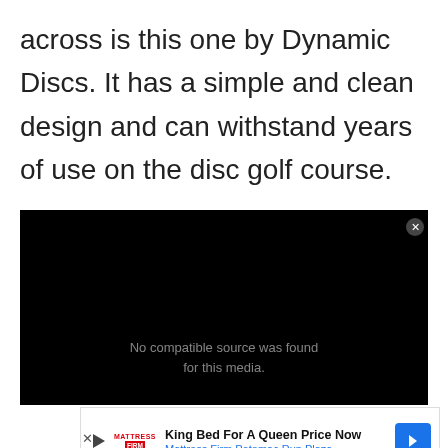across is this one by Dynamic Discs. It has a simple and clean design and can withstand years of use on the disc golf course.
[Figure (other): Embedded video player showing a dark/black screen with 'No compatible source was found for this media.' message and a close button]
[Figure (other): Advertisement banner for Mattress Firm Potomac Run Plaza - 'King Bed For A Queen Price Now' with Mattress Firm logo, play button, and blue arrow navigation button]